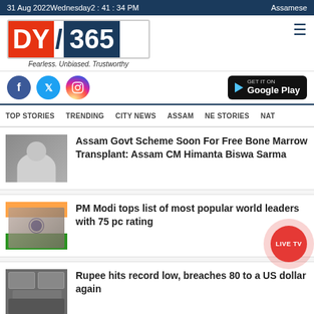31 Aug 2022 Wednesday 2 : 41 : 34 PM    Assamese
[Figure (logo): DY365 logo with tagline Fearless. Unbiased. Trustworthy]
[Figure (infographic): Social media icons: Facebook, Twitter, Instagram; Google Play download button; hamburger menu icon]
TOP STORIES   TRENDING   CITY NEWS   ASSAM   NE STORIES   NAT
Assam Govt Scheme Soon For Free Bone Marrow Transplant: Assam CM Himanta Biswa Sarma
PM Modi tops list of most popular world leaders with 75 pc rating
Rupee hits record low, breaches 80 to a US dollar again